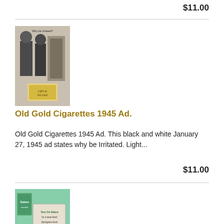$11.00
[Figure (photo): Black and white vintage Old Gold Cigarettes 1945 advertisement showing people and a cigarette pack with text 'Why be Irritated? Light up Old Gold!']
Old Gold Cigarettes 1945 Ad.
Old Gold Cigarettes 1945 Ad. This black and white January 27, 1945 ad states why be Irritated. Light...
$11.00
[Figure (photo): Color vintage Salem Menthol cigarettes 1965 advertisement showing outdoor scene with people, horses and cattle, with Salem cigarette pack, text 'Turn On, Salem, for a taste fresh Springtime fresh']
Salem Menthol Flavor 1965 Ad.